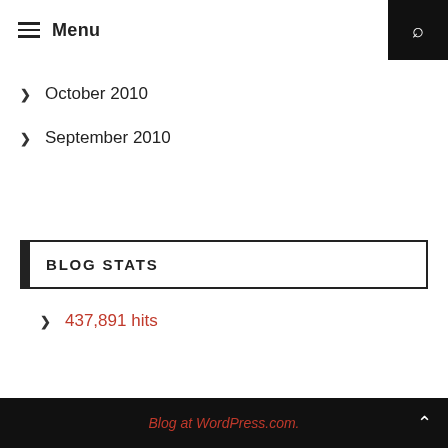Menu
October 2010
September 2010
BLOG STATS
437,891 hits
Blog at WordPress.com.